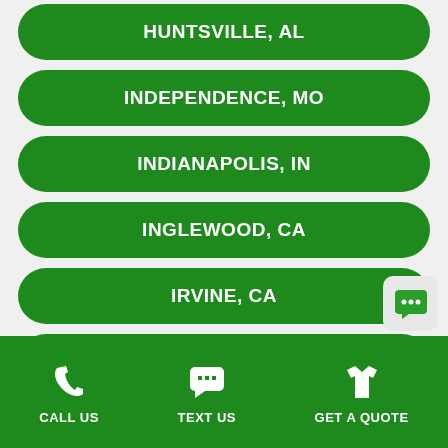HUNTSVILLE, AL
INDEPENDENCE, MO
INDIANAPOLIS, IN
INGLEWOOD, CA
IRVINE, CA
IRVING, TX
JACKSON, MS
CALL US  TEXT US  GET A QUOTE